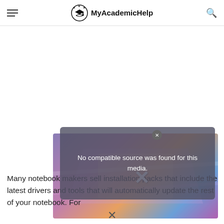MyAcademicHelp
[Figure (screenshot): Video player with colorful holographic background showing a laptop/monitor, overlaid by a modal dialog saying 'No compatible source was found for this media.' with a close button and an X dismiss icon.]
Many notebook makers sell installation packs that include the latest drivers and tools that will automatically update the rest of your notebook. For